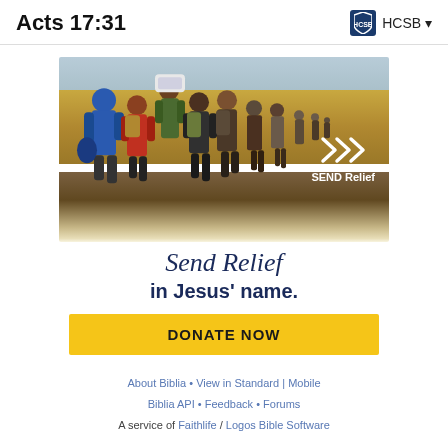Acts 17:31   HCSB
[Figure (photo): Advertisement banner: photo of refugees/migrants walking through a field carrying bags and backpacks on a muddy path, with a corn field in the background. SEND Relief logo (chevrons and text) visible in lower right of photo. Below the photo: handwritten-style text 'Send Relief in Jesus' name.' with a yellow DONATE NOW button.]
About Biblia • View in Standard | Mobile
Biblia API • Feedback • Forums
A service of Faithlife / Logos Bible Software